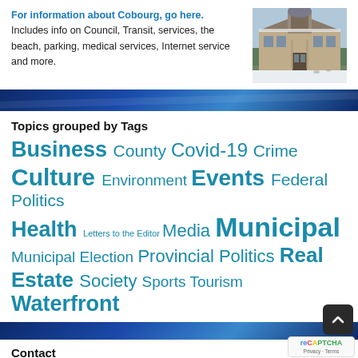For information about Cobourg, go here. Includes info on Council, Transit, services, the beach, parking, medical services, Internet service and more.
[Figure (photo): Photo of a historic stone building in winter with snow on the ground, likely Cobourg Town Hall]
Topics grouped by Tags
Business County Covid-19 Crime Culture Environment Events Federal Politics Health Letters to the Editor Media Municipal Municipal Election Provincial Politics Real Estate Society Sports Tourism Waterfront
Contact